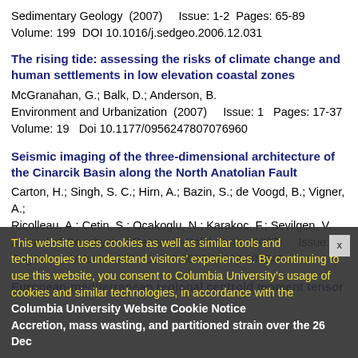Sedimentary Geology  (2007)    Issue: 1-2  Pages: 65-89
Volume: 199  DOI 10.1016/j.sedgeo.2006.12.031
The rising tide: assessing the risks of climate change and human settlements in low elevation coastal zones
McGranahan, G.; Balk, D.; Anderson, B.
Environment and Urbanization  (2007)    Issue: 1  Pages: 17-37
Volume: 19  Doi 10.1177/0956247807076960
Seismic imaging of the three-dimensional architecture of the Cinarcik Basin along the North Anatolian Fault
Carton, H.; Singh, S. C.; Hirn, A.; Bazin, S.; de Voogd, B.; Vigner, A.; Ricolleau, A.; Cetin, S.; Ocakoglu, N.; Karakoc, F.; Sevilgen, V.
Journal of Geophysical Research-Solid Earth  (2007)    Issue: B6
Pages: -    Volume: 112  Doi 10.1029/2006jb004548
European-mediterranean regional centroid moment tensor
This website uses cookies as well as similar tools and technologies to understand visitors' experiences. By continuing to use this website, you consent to Columbia University's usage of cookies and similar technologies, in accordance with the Columbia University Website Cookie Notice
Accretion, mass wasting, and partitioned strain over the 26 Dec